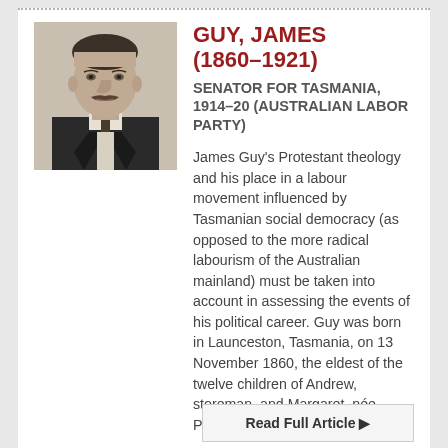[Figure (photo): Black and white portrait photograph of James Guy, an elderly man in formal attire with a suit and tie.]
GUY, JAMES (1860–1921)
SENATOR FOR TASMANIA, 1914–20 (AUSTRALIAN LABOR PARTY)
James Guy's Protestant theology and his place in a labour movement influenced by Tasmanian social democracy (as opposed to the more radical labourism of the Australian mainland) must be taken into account in assessing the events of his political career. Guy was born in Launceston, Tasmania, on 13 November 1860, the eldest of the twelve children of Andrew, storeman, and Margaret, née Polock. He
Read Full Article ▶